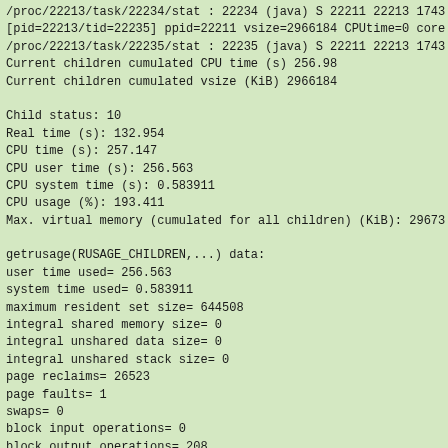/proc/22213/task/22234/stat : 22234 (java) S 22211 22213 1743
[pid=22213/tid=22235] ppid=22211 vsize=2966184 CPUtime=0 core
/proc/22213/task/22235/stat : 22235 (java) S 22211 22213 1743
Current children cumulated CPU time (s) 256.98
Current children cumulated vsize (KiB) 2966184

Child status: 10
Real time (s): 132.954
CPU time (s): 257.147
CPU user time (s): 256.563
CPU system time (s): 0.583911
CPU usage (%): 193.411
Max. virtual memory (cumulated for all children) (KiB): 29673

getrusage(RUSAGE_CHILDREN,...) data:
user time used= 256.563
system time used= 0.583911
maximum resident set size= 644508
integral shared memory size= 0
integral unshared data size= 0
integral unshared stack size= 0
page reclaims= 26523
page faults= 1
swaps= 0
block input operations= 0
block output operations= 208
messages sent= 0
messages received= 0
signals received= 0
voluntary context switches= 6525
involuntary context switches= 7990